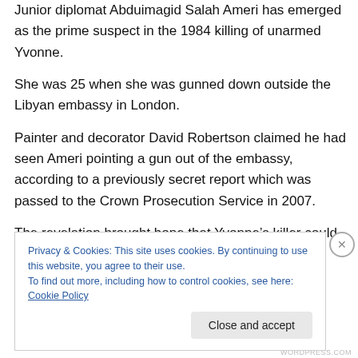Junior diplomat Abduimagid Salah Ameri has emerged as the prime suspect in the 1984 killing of unarmed Yvonne.
She was 25 when she was gunned down outside the Libyan embassy in London.
Painter and decorator David Robertson claimed he had seen Ameri pointing a gun out of the embassy, according to a previously secret report which was passed to the Crown Prosecution Service in 2007.
The revelation brought hope that Yvonne’s killer could finally be brought to justice but members of Libya’s
Privacy & Cookies: This site uses cookies. By continuing to use this website, you agree to their use.
To find out more, including how to control cookies, see here: Cookie Policy
WORDPRESS.COM